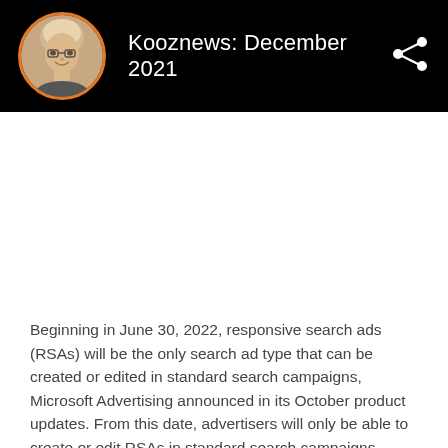[Figure (other): Black header bar with circular avatar photo of a woman with glasses and blonde hair, bordered in orange, next to the title 'Kooznews: December 2021' in white, and a share icon on the right]
Kooznews: December 2021
Beginning in June 30, 2022, responsive search ads (RSAs) will be the only search ad type that can be created or edited in standard search campaigns, Microsoft Advertising announced in its October product updates. From this date, advertisers will only be able to create or edit RSAs in standard search campaigns. Existing expanded text ads (ETAs) will continue to serve, but advertisers will not be able to edit or add them. This move brings Microsoft Advertising in line with Google Ads, which announced in August that